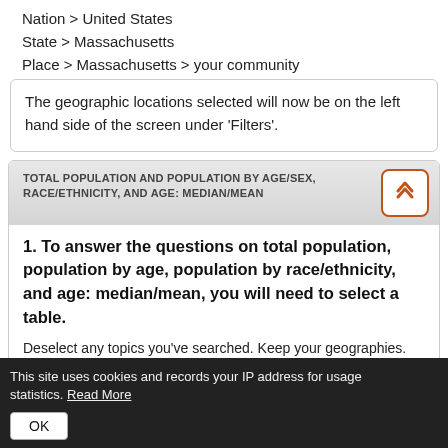Nation > United States
State > Massachusetts
Place > Massachusetts > your community
The geographic locations selected will now be on the left hand side of the screen under 'Filters'.
TOTAL POPULATION AND POPULATION BY AGE/SEX, RACE/ETHNICITY, AND AGE: MEDIAN/MEAN
1. To answer the questions on total population, population by age, population by race/ethnicity, and age: median/mean, you will need to select a table.
Deselect any topics you've searched. Keep your geographies.
Select:
Topics > Population and Demographic and Se...
This site uses cookies and records your IP address for usage statistics. Read More